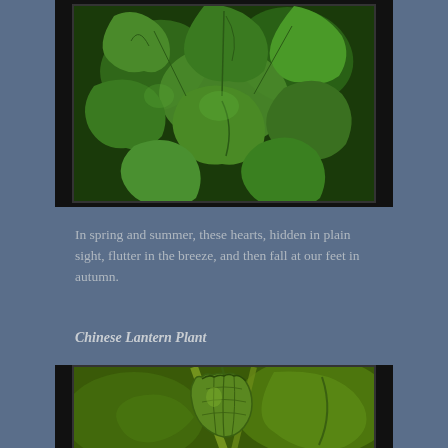[Figure (photo): Close-up photograph of ginkgo leaves — fan-shaped green leaves (bilobed) on dark background, showing characteristic heart-shaped ginkgo foliage.]
In spring and summer, these hearts, hidden in plain sight, flutter in the breeze, and then fall at our feet in autumn.
Chinese Lantern Plant
[Figure (photo): Close-up photograph of a Chinese Lantern Plant (Physalis) showing a green papery husk/calyx enclosing the fruit, with large green leaves and stems in a bokeh background.]